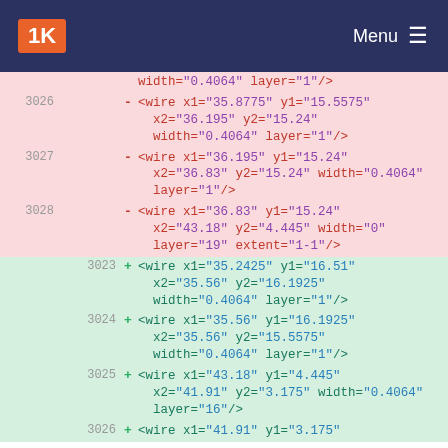1K Menu
Diff view of XML wire elements, lines 3023-3028, showing removed (red) and added (green) wire definitions with coordinates and layer attributes.